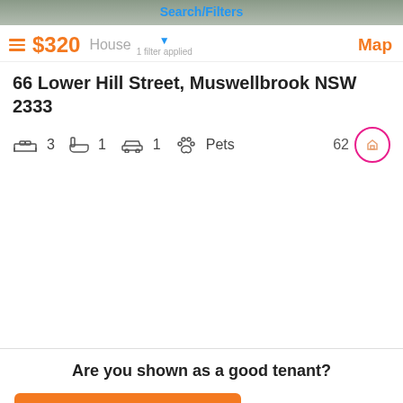[Figure (screenshot): Top blurred property image background]
Search/Filters
$320  House  1 filter applied  Map
66 Lower Hill Street, Muswellbrook NSW 2333
3 bedrooms  1 bathroom  1 parking  Pets  62
Are you shown as a good tenant?
Check my name
No thanks